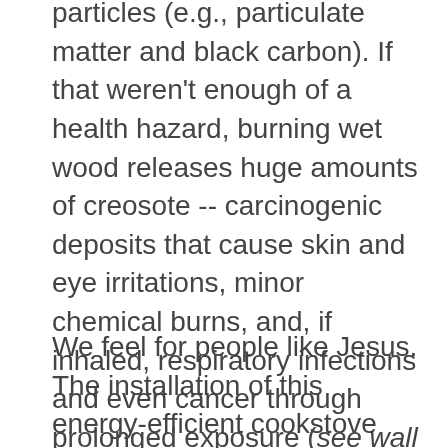particles (e.g., particulate matter and black carbon). If that weren't enough of a health hazard, burning wet wood releases huge amounts of creosote -- carcinogenic deposits that cause skin and eye irritations, minor chemical burns, and, if inhaled, respiratory infections and even cancer through prolonged exposure (see wall full of creosote).
We feel for people like Jesus. The installation of this energy-efficient cookstove was realized through your donations. Our store to donate